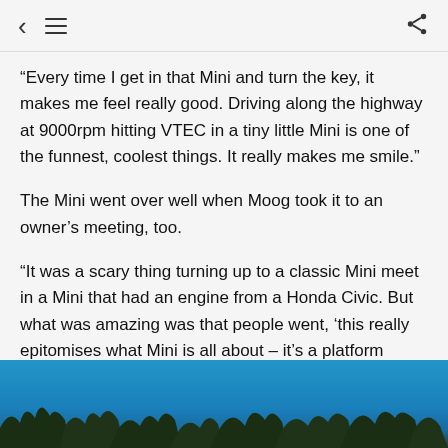Navigation bar with back, menu, and share icons
“Every time I get in that Mini and turn the key, it makes me feel really good. Driving along the highway at 9000rpm hitting VTEC in a tiny little Mini is one of the funnest, coolest things. It really makes me smile.”
The Mini went over well when Moog took it to an owner’s meeting, too.
“It was a scary thing turning up to a classic Mini meet in a Mini that had an engine from a Honda Civic. But what was amazing was that people went, ‘this really epitomises what Mini is all about – it’s a platform designed to be modified’. People change them and make them their own.”
[Figure (photo): Outdoor photo showing a bright blue sky with tree silhouettes visible at the bottom edge]